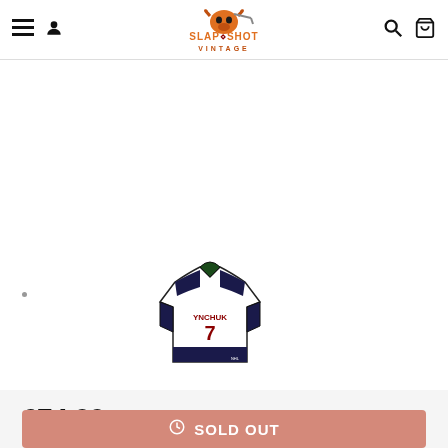Slapshot Vintage — navigation bar with menu, user, logo, search, cart
[Figure (photo): A vintage hockey jersey with number 7 and name on the back, white with dark trim, displayed on a white background]
£74.99
SOLD OUT